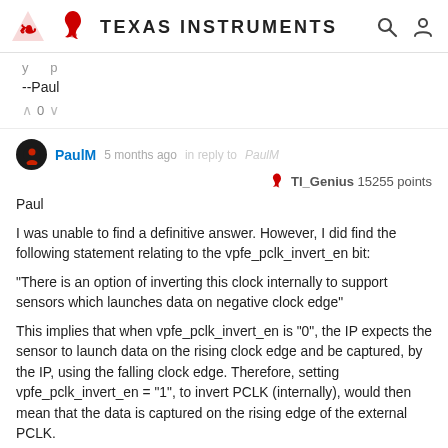Texas Instruments
--Paul
^ 0 v
PaulM  5 months ago in reply to PaulM
TI_Genius 15255 points
Paul

I was unable to find a definitive answer. However, I did find the following statement relating to the vpfe_pclk_invert_en bit:

"There is an option of inverting this clock internally to support sensors which launches data on negative clock edge"

This implies that when vpfe_pclk_invert_en is "0", the IP expects the sensor to launch data on the rising clock edge and be captured, by the IP, using the falling clock edge. Therefore, setting vpfe_pclk_invert_en = "1", to invert PCLK (internally), would then mean that the data is captured on the rising edge of the external PCLK.

--Paul